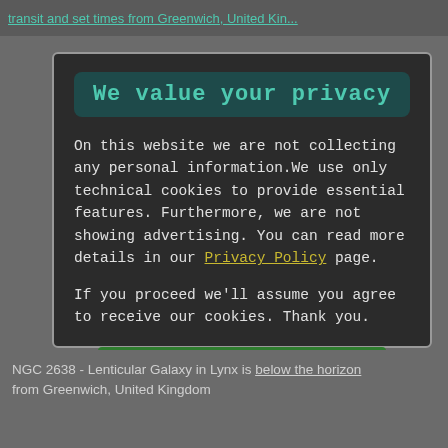transit and set times from Greenwich, United Kingdom
We value your privacy
On this website we are not collecting any personal information.We use only technical cookies to provide essential features. Furthermore, we are not showing advertising. You can read more details in our Privacy Policy page.
If you proceed we'll assume you agree to receive our cookies. Thank you.
Proceed to TheSkyLive.com
NGC 2638 - Lenticular Galaxy in Lynx is below the horizon from Greenwich, United Kingdom